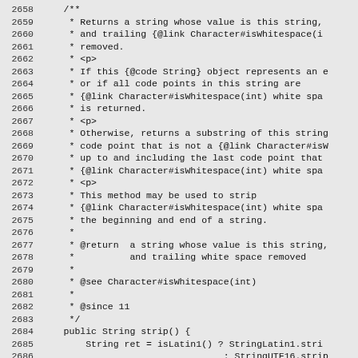Source code listing lines 2658-2687, Java String.strip() method Javadoc comment and method signature